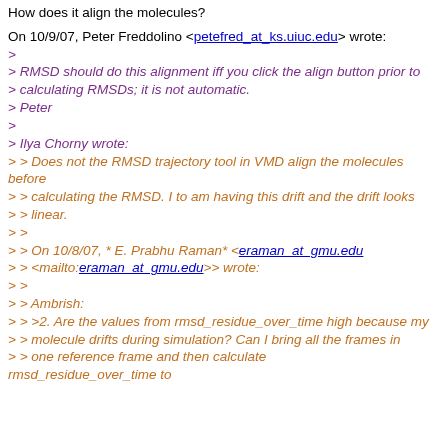How does it align the molecules?
On 10/9/07, Peter Freddolino <petefred_at_ks.uiuc.edu> wrote:
> RMSD should do this alignment iff you click the align button prior to
> calculating RMSDs; it is not automatic.
> Peter
>
> Ilya Chorny wrote:
> > Does not the RMSD trajectory tool in VMD align the molecules before
> > calculating the RMSD. I to am having this drift and the drift looks
> > linear.
> >
> > On 10/8/07, * E. Prabhu Raman* <eraman_at_gmu.edu
> > <mailto:eraman_at_gmu.edu>> wrote:
> >
> > Ambrish:
> > >2. Are the values from rmsd_residue_over_time high because my
> > molecule drifts during simulation? Can I bring all the frames in
> > one reference frame and then calculate
> > rmsd_residue_over_time to